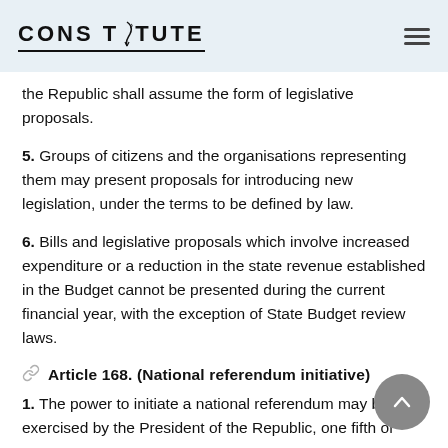CONSTITUTE
the Republic shall assume the form of legislative proposals.
5. Groups of citizens and the organisations representing them may present proposals for introducing new legislation, under the terms to be defined by law.
6. Bills and legislative proposals which involve increased expenditure or a reduction in the state revenue established in the Budget cannot be presented during the current financial year, with the exception of State Budget review laws.
Article 168. (National referendum initiative)
1. The power to initiate a national referendum may be exercised by the President of the Republic, one fifth of